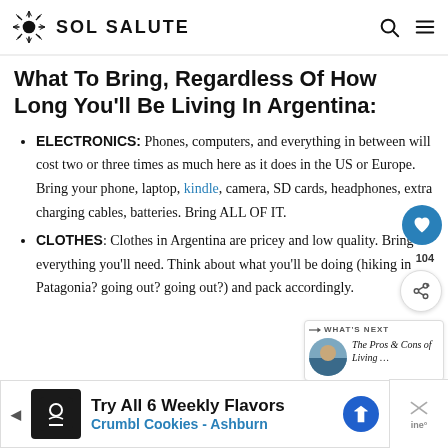SOL SALUTE
What To Bring, Regardless Of How Long You'll Be Living In Argentina:
ELECTRONICS: Phones, computers, and everything in between will cost two or three times as much here as it does in the US or Europe. Bring your phone, laptop, kindle, camera, SD cards, headphones, extra charging cables, batteries. Bring ALL OF IT.
CLOTHES: Clothes in Argentina are pricey and low quality. Bring everything you'll need. Think about what you'll be doing (hiking in Patagonia? going out? going out?) and pack accordingly.